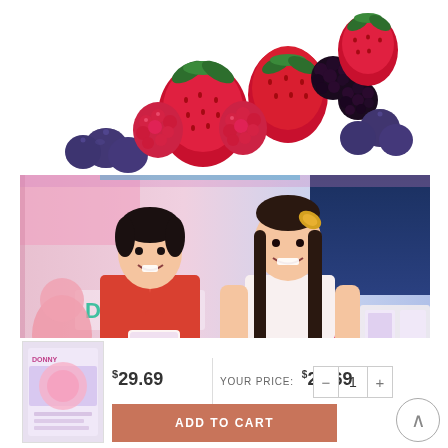[Figure (photo): Close-up photo of assorted fresh berries including strawberries, raspberries, blueberries, and blackberries on a white background]
[Figure (photo): Photo of a young man in a red polo shirt and a young woman smiling at a product booth with 'DONNY' branding visible. The man is holding a product package and a shopping bag.]
[Figure (photo): Product thumbnail image of a small supplement/beauty product box]
$29.69
YOUR PRICE: $29.69
ADD TO CART